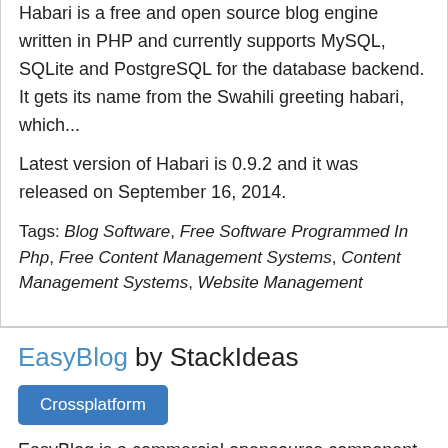Habari is a free and open source blog engine written in PHP and currently supports MySQL, SQLite and PostgreSQL for the database backend. It gets its name from the Swahili greeting habari, which...
Latest version of Habari is 0.9.2 and it was released on September 16, 2014.
Tags: Blog Software, Free Software Programmed In Php, Free Content Management Systems, Content Management Systems, Website Management
EasyBlog by StackIdeas
Crossplatform
EasyBlog is a commercial opensource component software for the Joomla! Content Management System developed by Stackideas. EasyBlog was first introduced on May 19, 2010. EasyBlog is compatible with